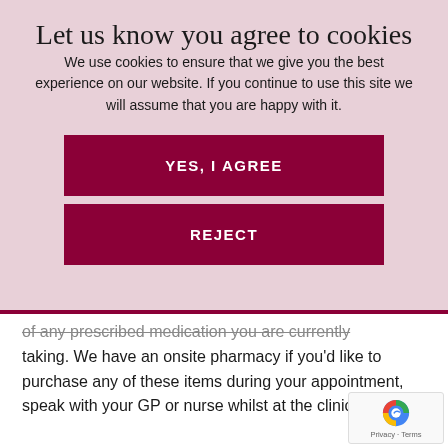Let us know you agree to cookies
We use cookies to ensure that we give you the best experience on our website. If you continue to use this site we will assume that you are happy with it.
YES, I AGREE
REJECT
of any prescribed medication you are currently taking. We have an onsite pharmacy if you'd like to purchase any of these items during your appointment, speak with your GP or nurse whilst at the clinic.
[Figure (other): reCAPTCHA badge with Privacy and Terms links]